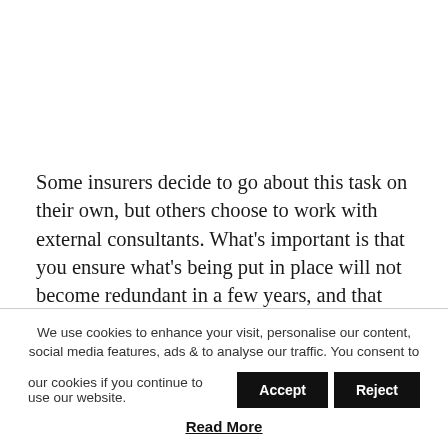Some insurers decide to go about this task on their own, but others choose to work with external consultants. What's important is that you ensure what's being put in place will not become redundant in a few years, and that your company culture can be managed positively through the transition.
We use cookies to enhance your visit, personalise our content, social media features, ads & to analyse our traffic. You consent to our cookies if you continue to use our website. Accept Reject Read More